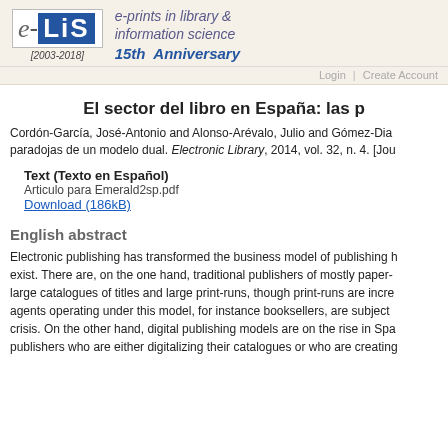[Figure (logo): e-LiS logo with text 'e-prints in library & information science' and '15th Anniversary [2003-2018]']
Login | Create Account
El sector del libro en España: las p
Cordón-García, José-Antonio and Alonso-Arévalo, Julio and Gómez-Dia paradojas de un modelo dual. Electronic Library, 2014, vol. 32, n. 4. [Jou
Text (Texto en Español)
Articulo para Emerald2sp.pdf
Download (186kB)
English abstract
Electronic publishing has transformed the business model of publishing h exist. There are, on the one hand, traditional publishers of mostly paper- large catalogues of titles and large print-runs, though print-runs are incre agents operating under this model, for instance booksellers, are subject crisis. On the other hand, digital publishing models are on the rise in Spa publishers who are either digitalizing their catalogues or who are creating